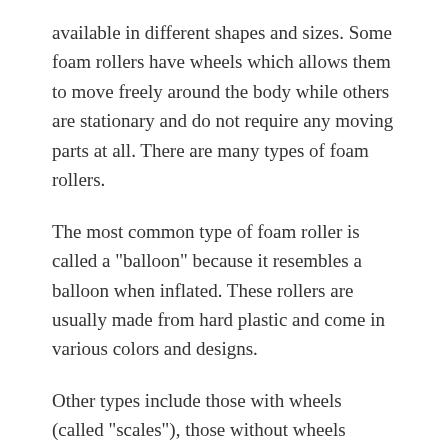available in different shapes and sizes. Some foam rollers have wheels which allows them to move freely around the body while others are stationary and do not require any moving parts at all. There are many types of foam rollers.
The most common type of foam roller is called a "balloon" because it resembles a balloon when inflated. These rollers are usually made from hard plastic and come in various colors and designs.
Other types include those with wheels (called "scales"), those without wheels (called "treadmills") and those that use air pressure instead of balloons (called "air blowers").